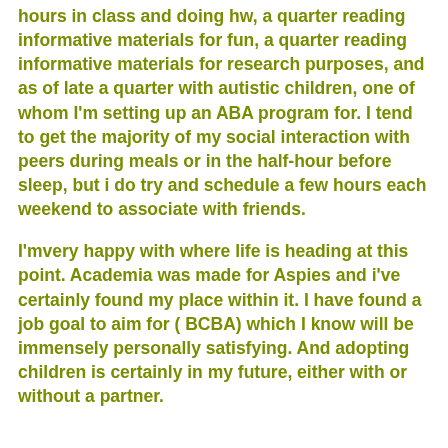hours in class and doing hw, a quarter reading informative materials for fun, a quarter reading informative materials for research purposes, and as of late a quarter with autistic children, one of whom I'm setting up an ABA program for. I tend to get the majority of my social interaction with peers during meals or in the half-hour before sleep, but i do try and schedule a few hours each weekend to associate with friends.
I'mvery happy with where life is heading at this point. Academia was made for Aspies and i've certainly found my place within it. I have found a job goal to aim for ( BCBA) which I know will be immensely personally satisfying. And adopting children is certainly in my future, either with or without a partner.